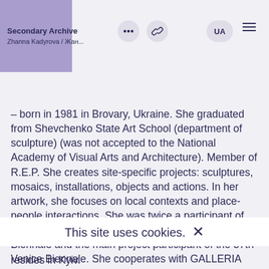Secondary Archive
Zhanna Kadyrova / Жан...
– born in 1981 in Brovary, Ukraine. She graduated from Shevchenko State Art School (department of sculpture) (was not accepted to the National Academy of Visual Arts and Architecture). Member of R.E.P. She creates site-specific projects: sculptures, mosaics, installations, objects and actions. In her artwork, she focuses on local contexts and place-people interactions. She was twice a participant of the Ukrainian pavilion at the 55th and 56th Venice Biennale and the main project participant of the 57th Venice Biennale. She cooperates with GALLERIA CONTINUA, San Gimignano / Beijing / Le Moulin / Havana / Sao Paulo / Paris. Gallery
This site uses cookies. ×
resides in Kyiv.